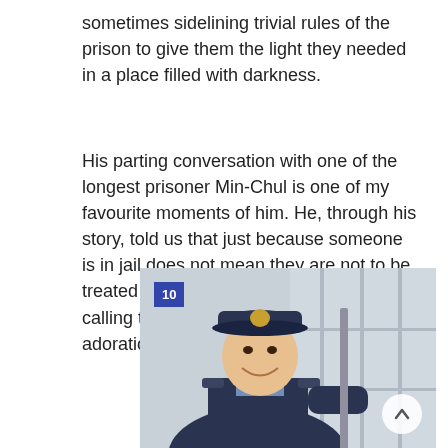sometimes sidelining trivial rules of the prison to give them the light they needed in a place filled with darkness.
His parting conversation with one of the longest prisoner Min-Chul is one of my favourite moments of him. He, through his story, told us that just because someone is in jail does not mean they are not to be treated as humans. In Jung Hae-in words, calling them “bastards” was his way of adoration.
[Figure (photo): A man in a navy blue prison guard uniform and cap smiling, standing near a windowed door or gate. A blue badge with the number 10 is visible in the upper left. A circular scroll-up button is in the lower right.]